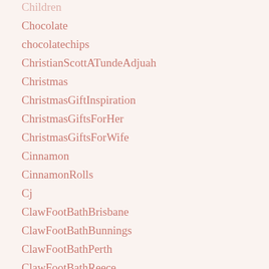Children
Chocolate
chocolatechips
ChristianScottATundeAdjuah
Christmas
ChristmasGiftInspiration
ChristmasGiftsForHer
ChristmasGiftsForWife
Cinnamon
CinnamonRolls
Cj
ClawFootBathBrisbane
ClawFootBathBunnings
ClawFootBathPerth
ClawFootBathReece